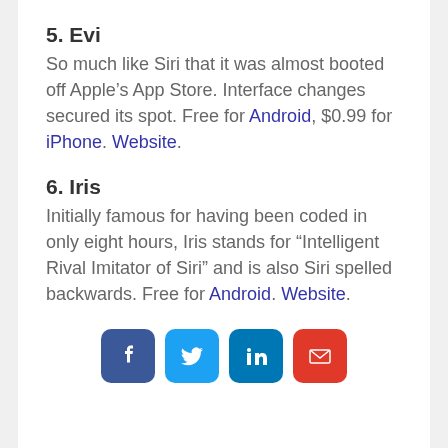5. Evi
So much like Siri that it was almost booted off Apple’s App Store. Interface changes secured its spot. Free for Android, $0.99 for iPhone. Website.
6. Iris
Initially famous for having been coded in only eight hours, Iris stands for “Intelligent Rival Imitator of Siri” and is also Siri spelled backwards. Free for Android. Website.
[Figure (infographic): Row of four social sharing icon buttons: Facebook (blue), Twitter (light blue), LinkedIn (teal blue), Email (red)]